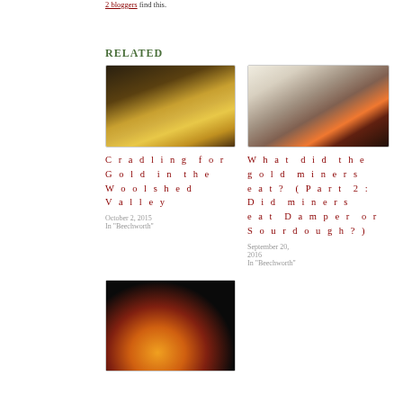2 bloggers find this.
Related
[Figure (photo): Person cradling for gold with yellow equipment, gold mining scene]
Cradling for Gold in the Woolshed Valley
October 2, 2015
In "Beechworth"
[Figure (photo): Interior of old building with fireplace/oven, historical gold miner kitchen scene]
What did the gold miners eat? (Part 2: Did miners eat Damper or Sourdough?)
September 20, 2016
In "Beechworth"
[Figure (photo): Beer being poured into a glass against dark background]